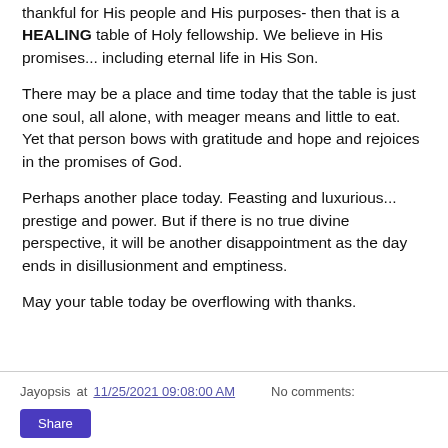thankful for His people and His purposes- then that is a HEALING table of Holy fellowship. We believe in His promises... including eternal life in His Son.
There may be a place and time today that the table is just one soul, all alone, with meager means and little to eat. Yet that person bows with gratitude and hope and rejoices in the promises of God.
Perhaps another place today. Feasting and luxurious... prestige and power. But if there is no true divine perspective, it will be another disappointment as the day ends in disillusionment and emptiness.
May your table today be overflowing with thanks.
Jayopsis at 11/25/2021 09:08:00 AM   No comments:   Share